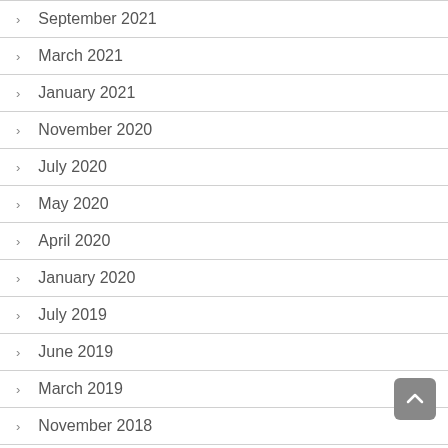September 2021
March 2021
January 2021
November 2020
July 2020
May 2020
April 2020
January 2020
July 2019
June 2019
March 2019
November 2018
September 2018
August 2018
May 2018